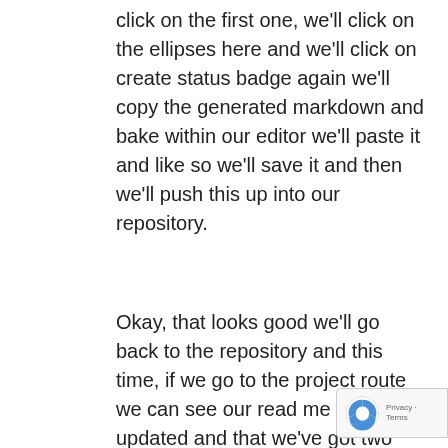click on the first one, we'll click on the ellipses here and we'll click on create status badge again we'll copy the generated markdown and bake within our editor we'll paste it and like so we'll save it and then we'll push this up into our repository.
Okay, that looks good we'll go back to the repository and this time, if we go to the project route we can see our read me has been updated and that we've got two badges one indicating our code coverage of 90% and the other one indicating that our GitHub action is passing so the builder's passing.
Okay, that now completes the demonstration I hope you've enjoyed these set of demonstrations in which I've shown you how to do test driven development using C#in various tools. Go ahead and close this lesson and we'll wrap up the cours in the next one.